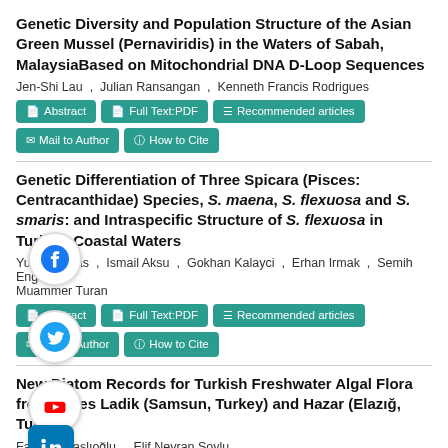Genetic Diversity and Population Structure of the Asian Green Mussel (Pernaviridis) in the Waters of Sabah, MalaysiaBased on Mitochondrial DNA D-Loop Sequences
Jen-Shi Lau , Julian Ransangan , Kenneth Francis Rodrigues
Abstract | Full Text:PDF | Recommended articles | Mail to Author | How to Cite
Genetic Differentiation of Three Spicara (Pisces: Centracanthidae) Species, S. maena, S. flexuosa and S. smaris: and Intraspecific Structure of S. flexuosa in Turkish Coastal Waters
Yusuf Bektas , Ismail Aksu , Gokhan Kalayci , Erhan Irmak , Semih Engin , Muammer Turan
Abstract | Full Text:PDF | Recommended articles | Mail to Author | How to Cite
New Diatom Records for Turkish Freshwater Algal Flora from Lakes Ladik (Samsun, Turkey) and Hazar (Elazığ, Turkey)
Faruk Maraşlıoğlu , Elif Neyran Soylu
Abstract | Full Text:PDF | Recommended articles